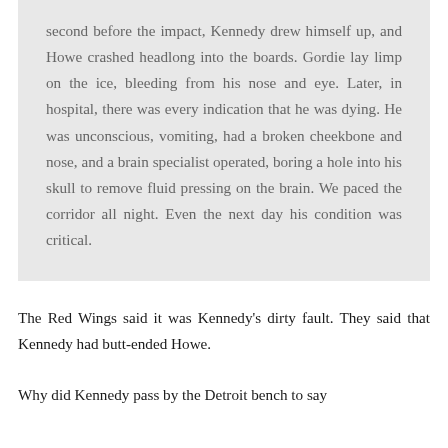second before the impact, Kennedy drew himself up, and Howe crashed headlong into the boards. Gordie lay limp on the ice, bleeding from his nose and eye. Later, in hospital, there was every indication that he was dying. He was unconscious, vomiting, had a broken cheekbone and nose, and a brain specialist operated, boring a hole into his skull to remove fluid pressing on the brain. We paced the corridor all night. Even the next day his condition was critical.
The Red Wings said it was Kennedy's dirty fault. They said that Kennedy had butt-ended Howe.
Why did Kennedy pass by the Detroit bench to say